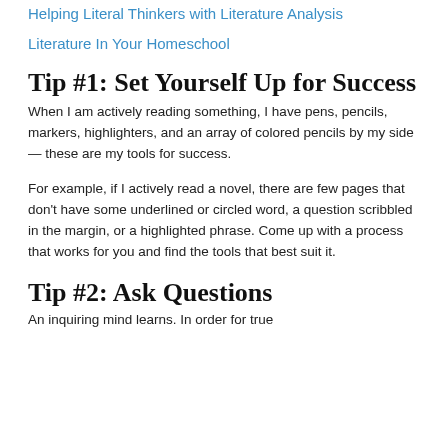Helping Literal Thinkers with Literature Analysis
Literature In Your Homeschool
Tip #1: Set Yourself Up for Success
When I am actively reading something, I have pens, pencils, markers, highlighters, and an array of colored pencils by my side — these are my tools for success.
For example, if I actively read a novel, there are few pages that don't have some underlined or circled word, a question scribbled in the margin, or a highlighted phrase. Come up with a process that works for you and find the tools that best suit it.
Tip #2: Ask Questions
An inquiring mind learns. In order for true